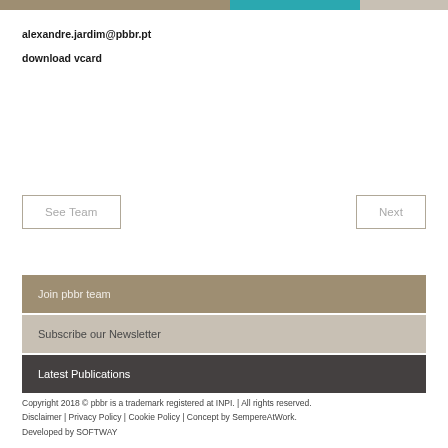[Figure (other): Colored header bar with three segments: tan/brown, teal, and light beige]
alexandre.jardim@pbbr.pt
download vcard
See Team
Next
Join pbbr team
Subscribe our Newsletter
Latest Publications
Copyright 2018 © pbbr is a trademark registered at INPI. | All rights reserved.
Disclaimer | Privacy Policy | Cookie Policy | Concept by SempereAtWork.
Developed by SOFTWAY